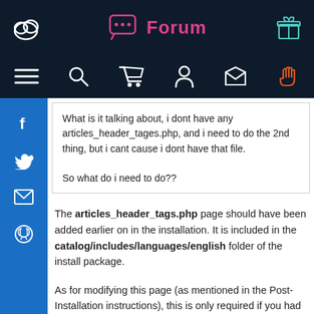Forum
What is it talking about, i dont have any articles_header_tages.php, and i need to do the 2nd thing, but i cant cause i dont have that file.

So what do i need to do??
The articles_header_tags.php page should have been added earlier on in the installation. It is included in the catalog/includes/languages/english folder of the install package.
As for modifying this page (as mentioned in the Post-Installation instructions), this is only required if you had previously installed Linda McGrath's Header Tags Controller. If you don't have this contribution installed, then ignore this step (but you still need the